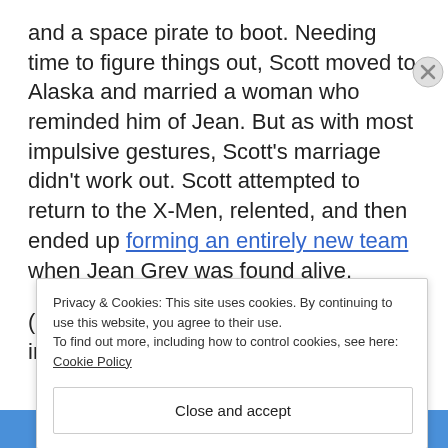and a space pirate to boot. Needing time to figure things out, Scott moved to Alaska and married a woman who reminded him of Jean. But as with most impulsive gestures, Scott's marriage didn't work out. Scott attempted to return to the X-Men, relented, and then ended up forming an entirely new team when Jean Grey was found alive.
(Yes, Scott left his wife and child behind in Alaska.
Privacy & Cookies: This site uses cookies. By continuing to use this website, you agree to their use. To find out more, including how to control cookies, see here: Cookie Policy
Close and accept